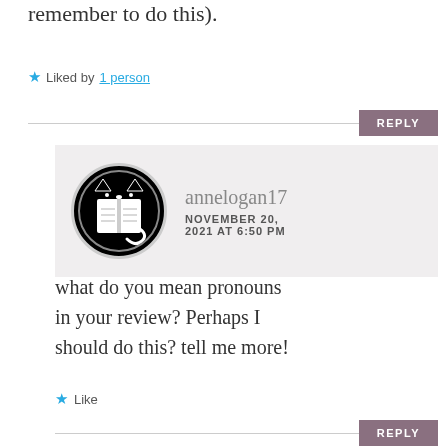remember to do this).
Liked by 1 person
REPLY
[Figure (illustration): Circular avatar icon with black background showing a cat reading a book, black and white graphic]
annelogan17
NOVEMBER 20, 2021 AT 6:50 PM
what do you mean pronouns in your review? Perhaps I should do this? tell me more!
Like
REPLY